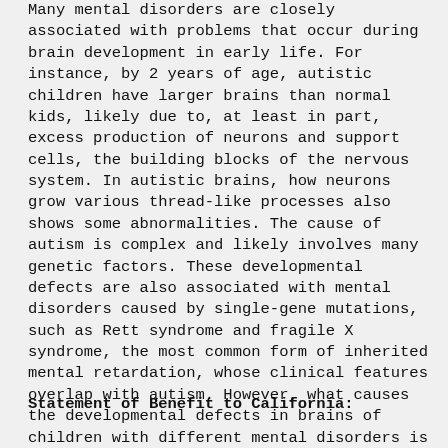Many mental disorders are closely associated with problems that occur during brain development in early life. For instance, by 2 years of age, autistic children have larger brains than normal kids, likely due to, at least in part, excess production of neurons and support cells, the building blocks of the nervous system. In autistic brains, how neurons grow various thread-like processes also shows some abnormalities. The cause of autism is complex and likely involves many genetic factors. These developmental defects are also associated with mental disorders caused by single-gene mutations, such as Rett syndrome and fragile X syndrome, the most common form of inherited mental retardation, whose clinical features overlap with autism. However, what causes the developmental defects in brains of children with different mental disorders is largely unknown. In recent years, an exciting new regulatory pathway was discovered that may well contribute to the etiology of mental disorders. The major player in this novel pathway is a class of tiny molecules 21
Statement of Benefit to California: